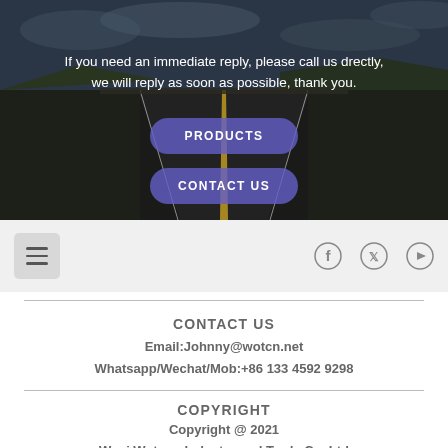[Figure (photo): Road stretching into distance under cloudy sky, dark moody background]
If you need an immediate reply, please call us drectly, we will reply as soon as possible, thank you.
PRODUCTS
CONTACT US
[Figure (infographic): Navigation bar with hamburger menu icon on left and social media icons (Facebook, Twitter, YouTube) on right]
CONTACT US
Email:Johnny@wotcn.net
Whatsapp/Wechat/Mob:+86 133 4592 9298
COPYRIGHT
Copyright @ 2021
Wuyi Woteng Industry and Trade Co.,Ltd